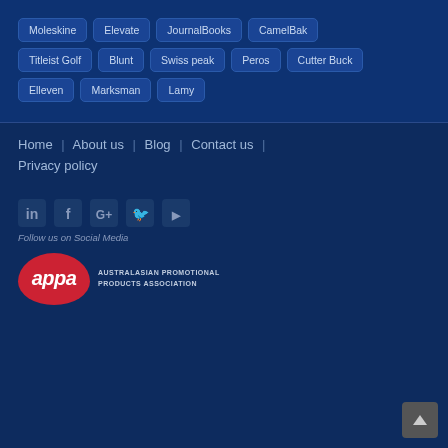Moleskine
Elevate
JournalBooks
CamelBak
Titleist Golf
Blunt
Swiss peak
Peros
Cutter Buck
Elleven
Marksman
Lamy
Home | About us | Blog | Contact us | Privacy policy
[Figure (infographic): Social media icons: LinkedIn, Facebook, Google+, Twitter, YouTube]
Follow us on Social Media
[Figure (logo): APPA - Australasian Promotional Products Association logo with red oval badge and text]